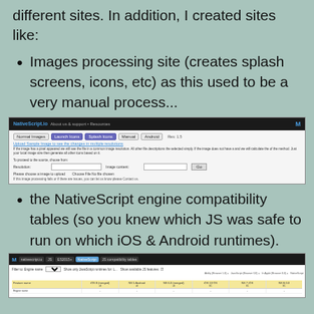different sites. In addition, I created sites like:
Images processing site (creates splash screens, icons, etc) as this used to be a very manual process...
[Figure (screenshot): Screenshot of an image processing web application with tabs for Normal Images, Launch Icons, Splash Icons, Manual, and Android. Shows a form with fields for Resolution and Choose file, plus a Go button.]
the NativeScript engine compatibility tables (so you knew which JS was safe to run on which iOS & Android runtimes).
[Figure (screenshot): Screenshot of a NativeScript compatibility table website showing columns for different iOS and Android runtime versions with compatibility data in a table.]